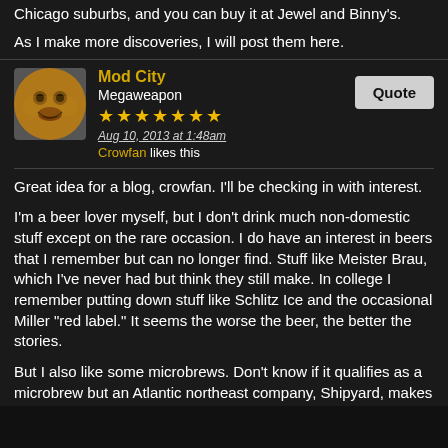Chicago suburbs, and you can buy it at Jewel and Binny's.
As I make more discoveries, I will post them here.
Mod City
Megaweapon
★★★★★★★
Aug 10, 2013 at 1:48am
Crowfan likes this
Great idea for a blog, crowfan. I'll be checking in with interest.

I'm a beer lover myself, but I don't drink much non-domestic stuff except on the rare occasion. I do have an interest in beers that I remember but can no longer find. Stuff like Meister Brau, which I've never had but think they still make. In college I remember putting down stuff like Schlitz Ice and the occasional Miller "red label." It seems the worse the beer, the better the stories.

But I also like some microbrews. Don't know if it qualifies as a microbrew but an Atlantic northeast company, Shipyard, makes a seasonal Pumpkin Ale that I thought I'd never like but, damn, that was some tasty stuff. Tall glass, ice cold.

Keep up the good research 🙂